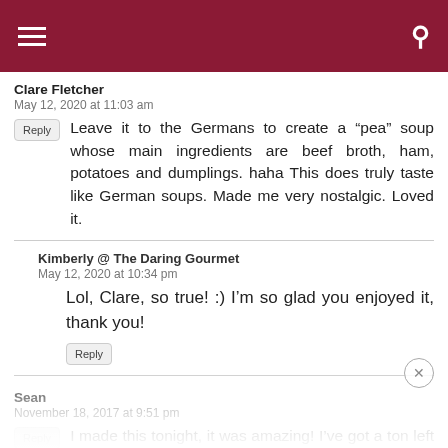Navigation menu and search icon on dark red header bar
Clare Fletcher
May 12, 2020 at 11:03 am
Leave it to the Germans to create a “pea” soup whose main ingredients are beef broth, ham, potatoes and dumplings. haha This does truly taste like German soups. Made me very nostalgic. Loved it.
Kimberly @ The Daring Gourmet
May 12, 2020 at 10:34 pm
Lol, Clare, so true! :) I’m so glad you enjoyed it, thank you!
Sean
November 18, 2017 at 9:51 pm
I made this tonight, it was amazing! I’ve got a ton left over so i’ll Be eating it for the next few days. I used 7 cups of beef broth, and 3 cups of water, forgot the bay leaf, and my dumplings didn’t look as pretty as yours, but…